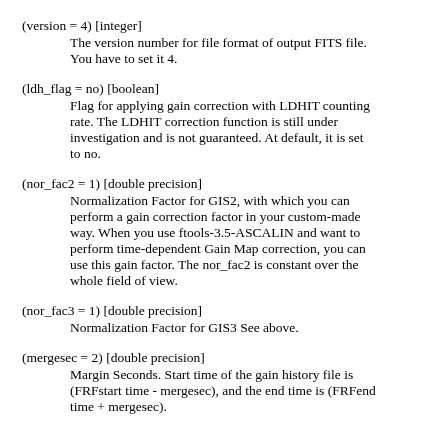(version = 4) [integer]
        The version number for file format of output FITS file. You have to set it 4.
(ldh_flag = no) [boolean]
        Flag for applying gain correction with LDHIT counting rate. The LDHIT correction function is still under investigation and is not guaranteed. At default, it is set to no.
(nor_fac2 = 1) [double precision]
        Normalization Factor for GIS2, with which you can perform a gain correction factor in your custom-made way. When you use ftools-3.5-ASCALIN and want to perform time-dependent Gain Map correction, you can use this gain factor. The nor_fac2 is constant over the whole field of view.
(nor_fac3 = 1) [double precision]
        Normalization Factor for GIS3 See above.
(mergesec = 2) [double precision]
        Margin Seconds. Start time of the gain history file is (FRFstart time - mergesec), and the end time is (FRFend time + mergesec).